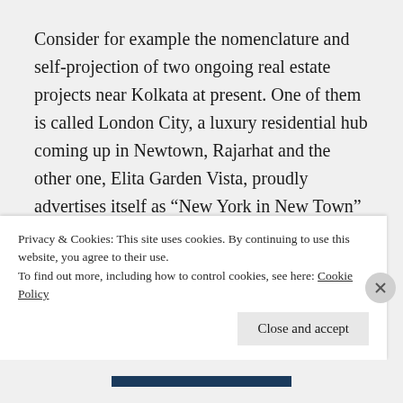Consider for example the nomenclature and self-projection of two ongoing real estate projects near Kolkata at present. One of them is called London City, a luxury residential hub coming up in Newtown, Rajarhat and the other one, Elita Garden Vista, proudly advertises itself as “New York in New Town” and invites consumers to “Own a home with a 6.8 acre Central Park”. The website of the latter categorically claims: “Come and stay in 6.8 acre elevated central park and experience the
Privacy & Cookies: This site uses cookies. By continuing to use this website, you agree to their use.
To find out more, including how to control cookies, see here: Cookie Policy
Close and accept